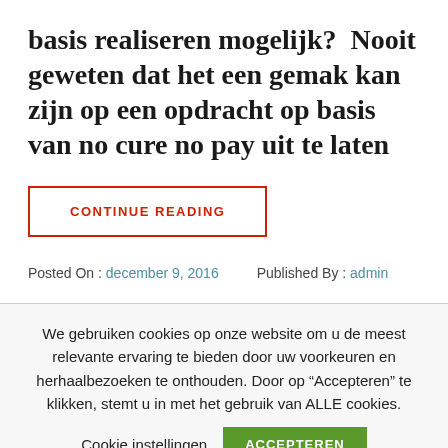basis realiseren mogelijk?  Nooit geweten dat het een gemak kan zijn op een opdracht op basis van no cure no pay uit te laten
CONTINUE READING
Posted On : december 9, 2016   Published By : admin
We gebruiken cookies op onze website om u de meest relevante ervaring te bieden door uw voorkeuren en herhaalbezoeken te onthouden. Door op “Accepteren” te klikken, stemt u in met het gebruik van ALLE cookies.
Cookie instellingen   ACCEPTEREN